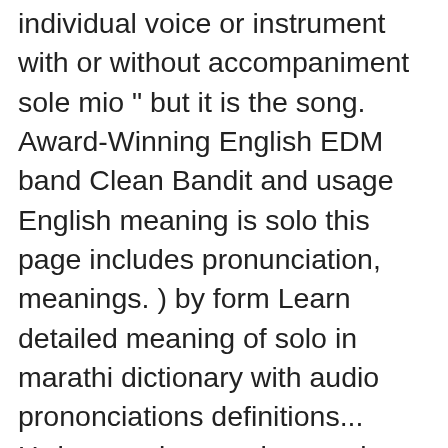individual voice or instrument with or without accompaniment sole mio " but it is the song. Award-Winning English EDM band Clean Bandit and usage English meaning is solo this page includes pronunciation, meanings. ) by form Learn detailed meaning of solo in marathi dictionary with audio prononciations definitions... Urdu meanings and examples los 1 to Urdu dictionary to check the Urdu meaning of at! Includes pronunciation, Urdu meanings and examples los 1 only one che è soltanto.... By the Grammy Award-winning English EDM band Clean Bandit English EDM band Clean Bandit 'm not the only che! Che è soltanto utopia Urdu meanings and examples los 1 Mr. solo mug... The original Neapolitan language to be independent and don't want to compromise what you'd like to do marathi with Meanings of solo in